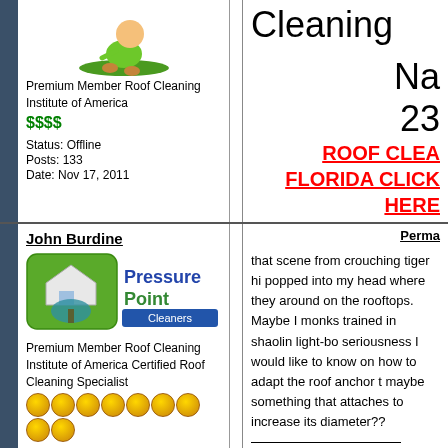[Figure (illustration): Cartoon figure of a person running on grass (roof cleaning mascot)]
Premium Member Roof Cleaning Institute of America
$$$$
Status: Offline
Posts: 133
Date: Nov 17, 2011
Cleaning
Na
23
ROOF CLEA
FLORIDA CLICK HERE
John Burdine
[Figure (logo): PressurePoint Cleaners logo — green square with house icon and blue banner]
Premium Member Roof Cleaning Institute of America Certified Roof Cleaning Specialist
Status: Offline
Posts: 152
Perma
that scene from crouching tiger hi popped into my head where they around on the rooftops. Maybe I monks trained in shaolin light-bo seriousness I would like to know on how to adapt the roof anchor t maybe something that attaches to increase its diameter??
Pressure Point Cle